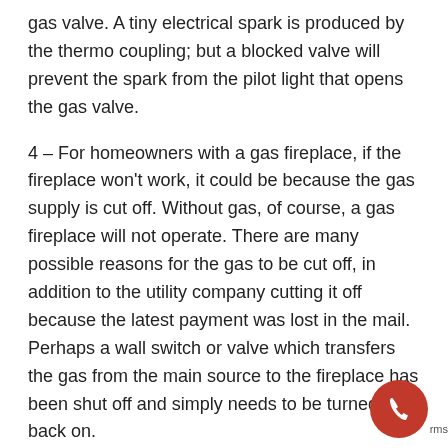gas valve. A tiny electrical spark is produced by the thermo coupling; but a blocked valve will prevent the spark from the pilot light that opens the gas valve.
4 – For homeowners with a gas fireplace, if the fireplace won't work, it could be because the gas supply is cut off. Without gas, of course, a gas fireplace will not operate. There are many possible reasons for the gas to be cut off, in addition to the utility company cutting it off because the latest payment was lost in the mail. Perhaps a wall switch or valve which transfers the gas from the main source to the fireplace has been shut off and simply needs to be turned back on.
5 – For a fireplace to work properly, several things need to happen, one of which is that the air needs to